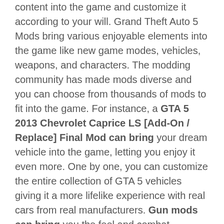content into the game and customize it according to your will. Grand Theft Auto 5 Mods bring various enjoyable elements into the game like new game modes, vehicles, weapons, and characters. The modding community has made mods diverse and you can choose from thousands of mods to fit into the game. For instance, a GTA 5 2013 Chevrolet Caprice LS [Add-On / Replace] Final Mod can bring your dream vehicle into the game, letting you enjoy it even more. One by one, you can customize the entire collection of GTA 5 vehicles giving it a more lifelike experience with real cars from real manufacturers. Gun mods can bring you the feel and combat experiences of other games, allowing you to wield a lightsaber from Star Wars, the famous dubstep gun from Saints Row, Thor's hammer, or even the latest collection of cyber-ware and weapons from the most hyped games. Similarly, one visual enhancing Grand Theft Auto 5 2013 Chevrolet Caprice LS [Add-On / Replace] Final Mod can bring the missing colors of beautiful sunsets and gloomy evenings the game is missing. You can finally enjoy a true Los Angeles experience thanks to